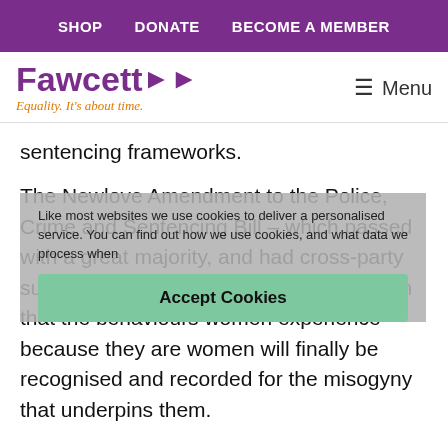SHOP   DONATE   BECOME A MEMBER
[Figure (logo): Fawcett Society logo with purple text 'Fawcett' with double arrow and orange italic tagline 'Equality. It's about time.']
sentencing frameworks.
The Newlove Amendment to the Police, Crime and Sentencing Bill – which passed with a great majority, and had cross-party support, in the House of Lords – will mean that the behaviours women experience because they are women will finally be recognised and recorded for the misogyny that underpins them.
Like most websites we use cookies to deliver a personalised service. You can find out how we use cookies, and what data we process when you...
Accept Cookies
MPs will soon be voting on the Newlove